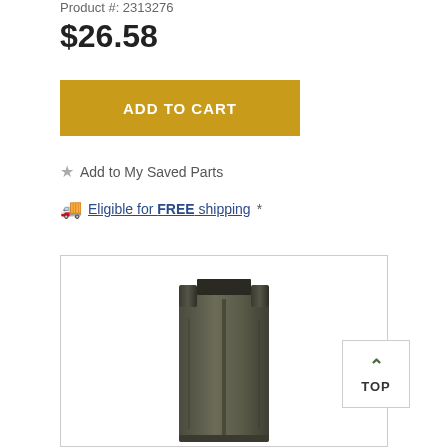Product #: 2313276
$26.58
ADD TO CART
Add to My Saved Parts
Eligible for FREE shipping *
[Figure (photo): A dark olive/grey colored rifle magazine, standing upright, shown against a white background inside a bordered image box.]
TOP